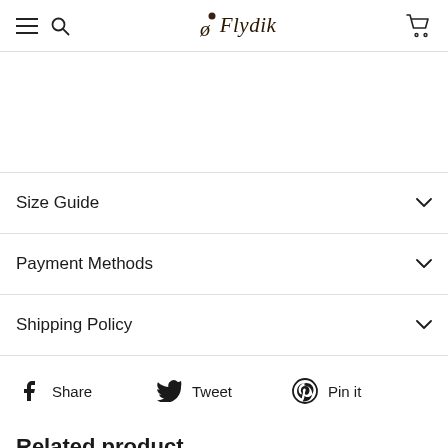Flydik
Size Guide
Payment Methods
Shipping Policy
Share  Tweet  Pin it
Related product